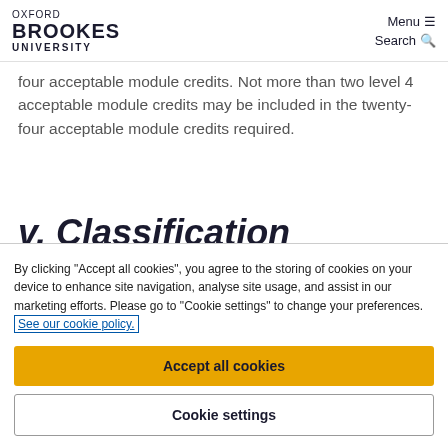OXFORD BROOKES UNIVERSITY | Menu | Search
four acceptable module credits. Not more than two level 4 acceptable module credits may be included in the twenty-four acceptable module credits required.
v. Classification
By clicking "Accept all cookies", you agree to the storing of cookies on your device to enhance site navigation, analyse site usage, and assist in our marketing efforts. Please go to "Cookie settings" to change your preferences. See our cookie policy.
Accept all cookies
Cookie settings